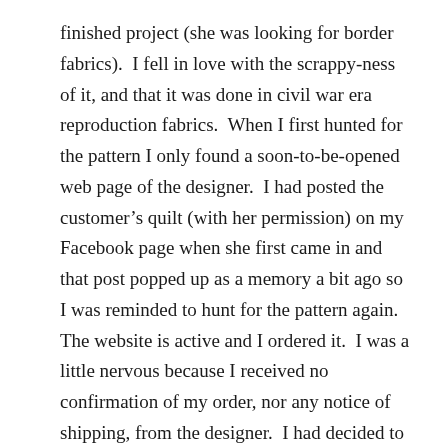finished project (she was looking for border fabrics).  I fell in love with the scrappy-ness of it, and that it was done in civil war era reproduction fabrics.  When I first hunted for the pattern I only found a soon-to-be-opened web page of the designer.  I had posted the customer’s quilt (with her permission) on my Facebook page when she first came in and that post popped up as a memory a bit ago so I was reminded to hunt for the pattern again.  The website is active and I ordered it.  I was a little nervous because I received no confirmation of my order, nor any notice of shipping, from the designer.  I had decided to give it two weeks before I wrote her, but it